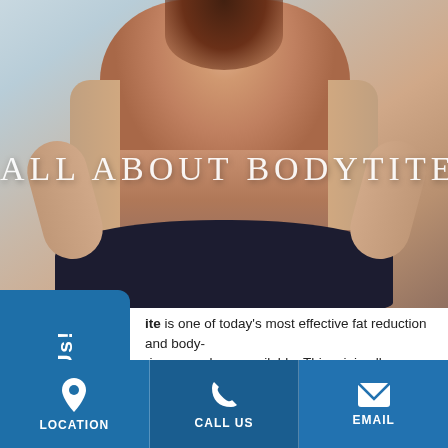[Figure (photo): Woman's torso/midriff in dark bikini bottom against light background, used as hero image for a medical spa/liposuction website page about BodyTite procedure]
ALL ABOUT BODYTITE
[Figure (infographic): Blue Contact Us sidebar tab on the left side]
BodyTite is one of today's most effective fat reduction and body-contouring procedures available. This minimally invasive procedure has only been increasing in popularity and is one of the highlighted treatments available from the St. Louis Laser Liposuction Center.
Our team of… [partially visible text about procedures] always… has… been an incredibly effective treatment option.
[Figure (infographic): Three CTA buttons at the bottom: LOCATION with map pin icon, CALL US with phone icon, EMAIL with envelope icon, all in blue background]